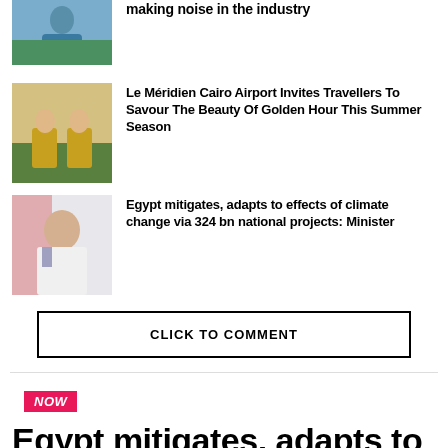[Figure (photo): Person in blue jacket outdoors]
making noise in the industry
[Figure (photo): People in lounge chairs outdoors]
Le Méridien Cairo Airport Invites Travellers To Savour The Beauty Of Golden Hour This Summer Season
[Figure (photo): Woman in white jacket with flag in background]
Egypt mitigates, adapts to effects of climate change via 324 bn national projects: Minister
CLICK TO COMMENT
NOW
Egypt mitigates, adapts to effects of climate change via 324 bn